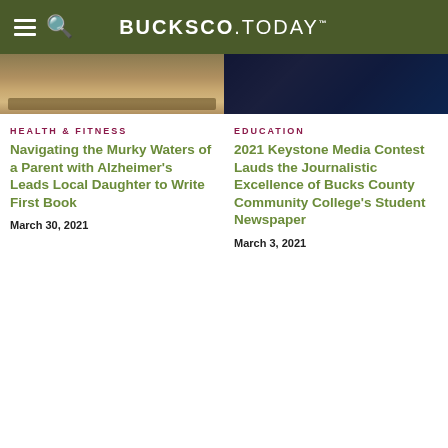BUCKSCO.TODAY
[Figure (photo): Partial image of a horse in a field]
HEALTH & FITNESS
Navigating the Murky Waters of a Parent with Alzheimer's Leads Local Daughter to Write First Book
March 30, 2021
[Figure (photo): Dark photo, partial image]
EDUCATION
2021 Keystone Media Contest Lauds the Journalistic Excellence of Bucks County Community College's Student Newspaper
March 3, 2021
[Figure (photo): Portrait photo of a blonde woman]
[Figure (logo): Scholastic Art & Writing Awards logo with golden circle emblem]